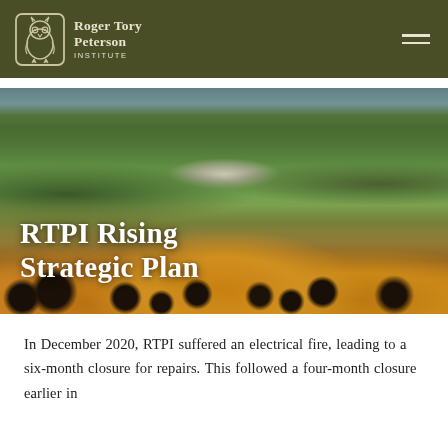Roger Tory Peterson Institute
[Figure (photo): Garden photograph showing yellow black-eyed Susan flowers in the foreground with green foliage, a small building structure visible in the middle background, and trees behind. Text overlay reads 'RTPI Rising Strategic Plan' in large white serif bold font.]
RTPI Rising Strategic Plan
In December 2020, RTPI suffered an electrical fire, leading to a six-month closure for repairs. This followed a four-month closure earlier in